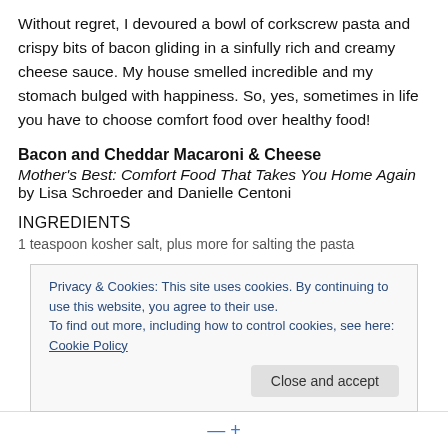Without regret, I devoured a bowl of corkscrew pasta and crispy bits of bacon gliding in a sinfully rich and creamy cheese sauce. My house smelled incredible and my stomach bulged with happiness. So, yes, sometimes in life you have to choose comfort food over healthy food!
Bacon and Cheddar Macaroni & Cheese
Mother's Best: Comfort Food That Takes You Home Again by Lisa Schroeder and Danielle Centoni
INGREDIENTS
1 teaspoon kosher salt, plus more for salting the pasta
Privacy & Cookies: This site uses cookies. By continuing to use this website, you agree to their use.
To find out more, including how to control cookies, see here: Cookie Policy